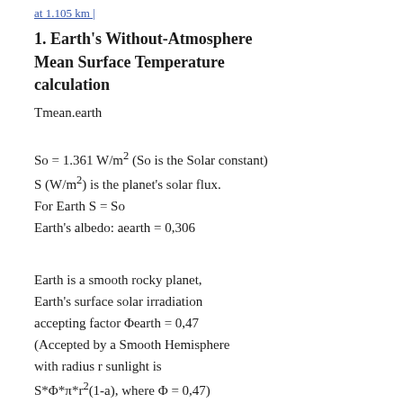at 1.105 km |
1. Earth's Without-Atmosphere Mean Surface Temperature calculation
Tmean.earth
So = 1.361 W/m² (So is the Solar constant)
S (W/m²) is the planet's solar flux.
For Earth S = So
Earth's albedo: aearth = 0,306
Earth is a smooth rocky planet,
Earth's surface solar irradiation accepting factor Φearth = 0,47
(Accepted by a Smooth Hemisphere with radius r sunlight is
S*Φ*π*r²(1-a), where Φ = 0,47)